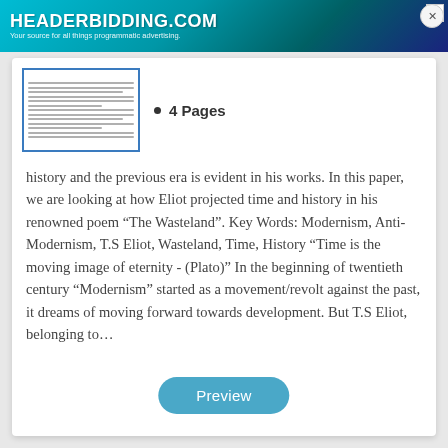[Figure (screenshot): Headerbidding.com advertisement banner with teal/blue gradient background]
[Figure (screenshot): Thumbnail preview of a multi-page document with text lines]
4 Pages
history and the previous era is evident in his works. In this paper, we are looking at how Eliot projected time and history in his renowned poem “The Wasteland”. Key Words: Modernism, Anti-Modernism, T.S Eliot, Wasteland, Time, History “Time is the moving image of eternity - (Plato)” In the beginning of twentieth century “Modernism” started as a movement/revolt against the past, it dreams of moving forward towards development. But T.S Eliot, belonging to…